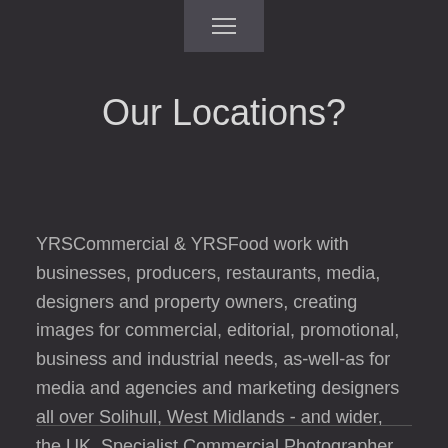[Figure (other): Navigation hamburger menu icon inside a dark rounded rectangle button at top center]
Our Locations?
YRSCommercial & YRSFood work with businesses, producers, restaurants, media, designers and property owners, creating images for commercial, editorial, promotional, business and industrial needs, as-well-as for media and agencies and marketing designers all over Solihull, West Midlands - and wider, the UK. Specialist Commercial Photographer, Your Reflection Studio (YRSCommercial)